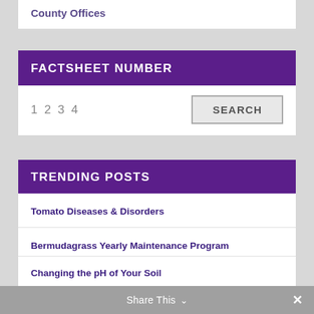County Offices
FACTSHEET NUMBER
1234
TRENDING POSTS
Tomato Diseases & Disorders
Bermudagrass Yearly Maintenance Program
Zoysiagrass Yearly Maintenance Program
Centipedegrass Yearly Maintenance Program
Changing the pH of Your Soil
Share This ∨  ×